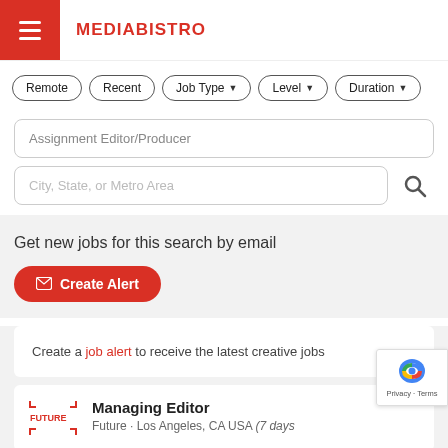MEDIABISTRO
Remote
Recent
Job Type
Level
Duration
Assignment Editor/Producer
City, State, or Metro Area
Get new jobs for this search by email
✉ Create Alert
Create a job alert to receive the latest creative jobs
Managing Editor
Future · Los Angeles, CA USA (7 days